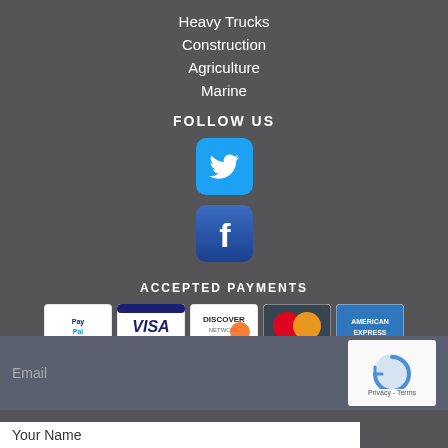Heavy Trucks
Construction
Agriculture
Marine
FOLLOW US
[Figure (logo): Twitter social media icon - blue rounded square with white bird]
[Figure (logo): Facebook social media icon - dark blue rounded square with white f]
ACCEPTED PAYMENTS
[Figure (logo): Payment method logos: PayPal, Visa, Discover Network, MasterCard, American Express]
CONTACT
Email
Your Name